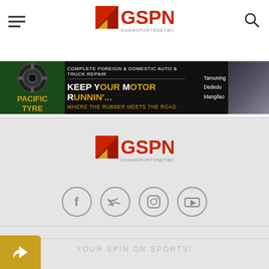GSPN - Guam Sports Network
[Figure (screenshot): Pacific Tyre advertisement banner - Complete Foreign & Domestic Auto & Truck Repair. Keep Your Motor Runnin'... Where the Rubber Meets the Road. Locations: Tamuning, Dededo, Mangilao]
[Figure (logo): GSPN Guam Sports Network logo in footer]
[Figure (infographic): Social media icons: Facebook, Twitter, Instagram, YouTube]
YOUR SPIN ON SPORTS!